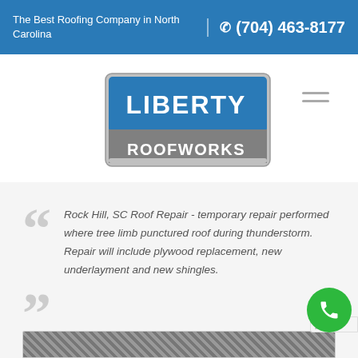The Best Roofing Company in North Carolina | (704) 463-8177
[Figure (logo): Liberty Roofworks logo — blue shield shape with LIBERTY in white bold text on blue background and ROOFWORKS in white text on gray background]
Rock Hill, SC Roof Repair - temporary repair performed where tree limb punctured roof during thunderstorm. Repair will include plywood replacement, new underlayment and new shingles.
[Figure (photo): Partial view of roof shingles at the bottom of the page]